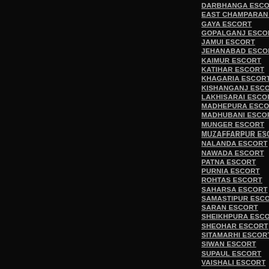DARBHANGA ESCORT
EAST CHAMPARAN ESCORT
GAYA ESCORT
GOPALGANJ ESCORT
JAMUI ESCORT
JEHANABAD ESCORT
KAIMUR ESCORT
KATIHAR ESCORT
KHAGARIA ESCORT
KISHANGANJ ESCORT
LAKHISARAI ESCORT
MADHEPURA ESCORT
MADHUBANI ESCORT
MUNGER ESCORT
MUZAFFARPUR ESCORT
NALANDA ESCORT
NAWADA ESCORT
PATNA ESCORT
PURNIA ESCORT
ROHTAS ESCORT
SAHARSA ESCORT
SAMASTIPUR ESCORT
SARAN ESCORT
SHEIKHPURA ESCORT
SHEOHAR ESCORT
SITAMARHI ESCORT
SIWAN ESCORT
SUPAUL ESCORT
VAISHALI ESCORT
WEST CHAMPARAN ESCORT
BALOD ESCORT
BALODA BAZAR ESCORT